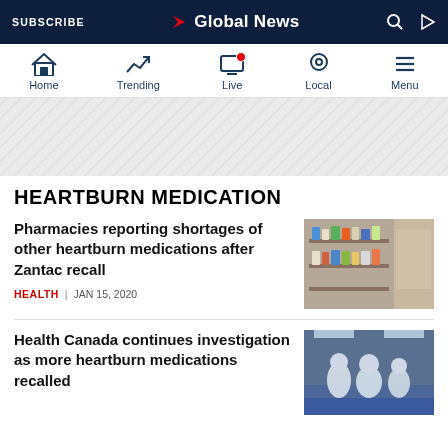SUBSCRIBE | Global News
[Figure (screenshot): Navigation bar with icons: Home, Trending, Live (with red dot), Local, Menu]
[Figure (other): Ad banner with diagonal stripe pattern]
HEARTBURN MEDICATION
Pharmacies reporting shortages of other heartburn medications after Zantac recall
HEALTH | JAN 15, 2020
[Figure (photo): Pharmacy shelves stocked with bottles and medications]
Health Canada continues investigation as more heartburn medications recalled
[Figure (photo): Scientists or workers in white lab suits/protective gear in a facility]